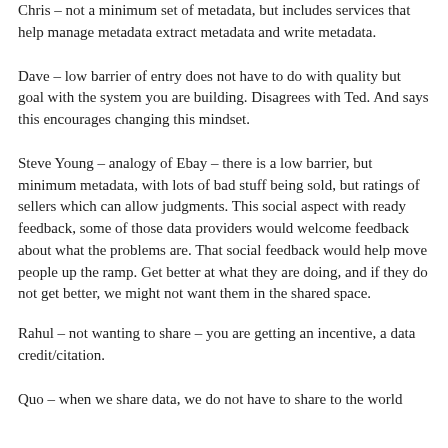Chris – not a minimum set of metadata, but includes services that help manage metadata extract metadata and write metadata.
Dave – low barrier of entry does not have to do with quality but goal with the system you are building. Disagrees with Ted. And says this encourages changing this mindset.
Steve Young – analogy of Ebay – there is a low barrier, but minimum metadata, with lots of bad stuff being sold, but ratings of sellers which can allow judgments. This social aspect with ready feedback, some of those data providers would welcome feedback about what the problems are. That social feedback would help move people up the ramp. Get better at what they are doing, and if they do not get better, we might not want them in the shared space.
Rahul – not wanting to share – you are getting an incentive, a data credit/citation.
Quo – when we share data, we do not have to share to the world